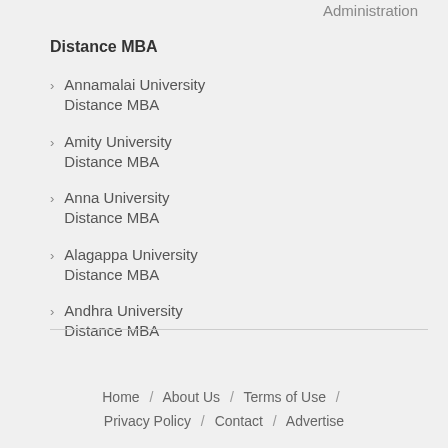Administration
Distance MBA
Annamalai University Distance MBA
Amity University Distance MBA
Anna University Distance MBA
Alagappa University Distance MBA
Andhra University Distance MBA
Home / About Us / Terms of Use / Privacy Policy / Contact / Advertise